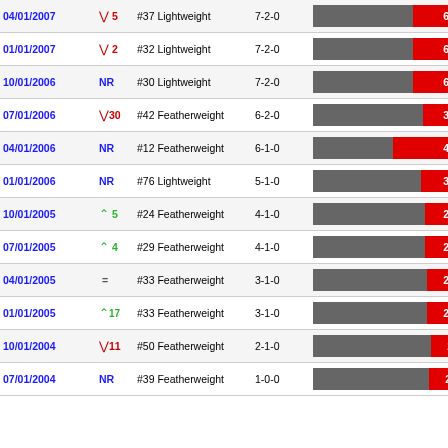| Date | Change | Rank/Division | Record | Bar/Points |
| --- | --- | --- | --- | --- |
| 04/01/2007 | ↓5 | #37 Lightweight | 7-2-0 | 62 |
| 01/01/2007 | ↓2 | #32 Lightweight | 7-2-0 | 62 |
| 10/01/2006 | NR | #30 Lightweight | 7-2-0 | 62 |
| 07/01/2006 | ↓30 | #42 Featherweight | 6-2-0 | 30 |
| 04/01/2006 | NR | #12 Featherweight | 6-1-0 | 43 |
| 01/01/2006 | NR | #76 Lightweight | 5-1-0 | 35 |
| 10/01/2005 | ↑5 | #24 Featherweight | 4-1-0 | 28 |
| 07/01/2005 | ↑4 | #29 Featherweight | 4-1-0 | 28 |
| 04/01/2005 | = | #33 Featherweight | 3-1-0 | 26 |
| 01/01/2005 | ↑17 | #33 Featherweight | 3-1-0 | 26 |
| 10/01/2004 | ↓11 | #50 Featherweight | 2-1-0 | 20 |
| 07/01/2004 | NR | #39 Featherweight | 1-0-0 | 21 |